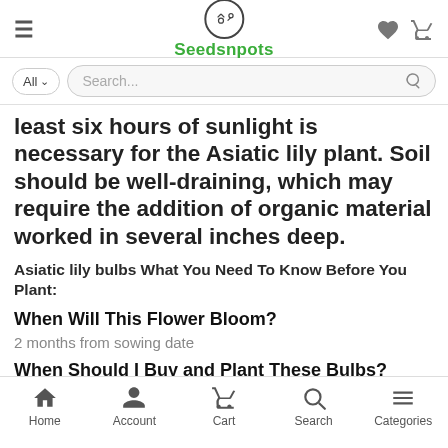Seedsnpots
least six hours of sunlight is necessary for the Asiatic lily plant. Soil should be well-draining, which may require the addition of organic material worked in several inches deep.
Asiatic lily bulbs What You Need To Know Before You Plant:
When Will This Flower Bloom?
2 months from sowing date
When Should I Buy and Plant These Bulbs?
Home Account Cart Search Categories